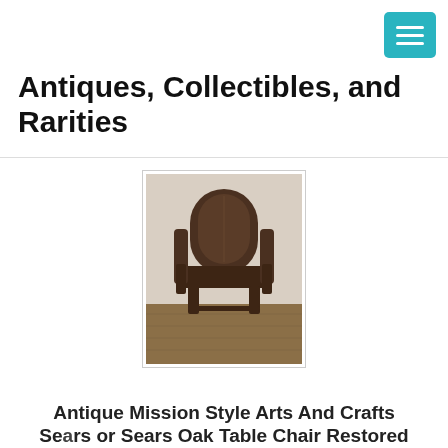[Figure (other): Hamburger menu icon button in teal/cyan color with three white horizontal bars]
Antiques, Collectibles, and Rarities
[Figure (photo): Antique Mission Style Arts and Crafts wooden chair photographed from the front, showing dark brown wood construction with rounded back and armrests, sitting on a wood floor]
Antique Mission Style Arts And Crafts Sears or Sears Oak Table Chair Restored